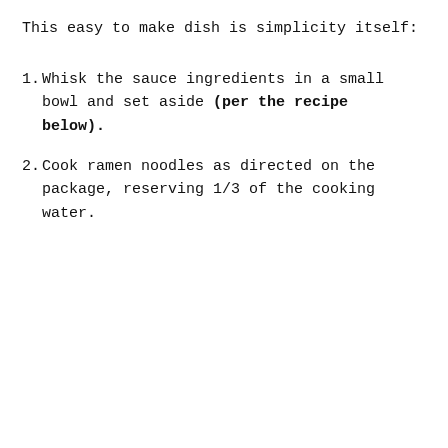This easy to make dish is simplicity itself:
Whisk the sauce ingredients in a small bowl and set aside (per the recipe below).
Cook ramen noodles as directed on the package, reserving 1/3 of the cooking water.